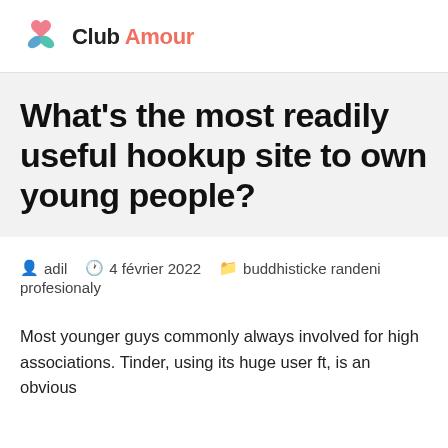Club Amour
What's the most readily useful hookup site to own young people?
adil  4 février 2022  buddhisticke randeni profesionaly
Most younger guys commonly always involved for high associations. Tinder, using its huge user ft, is an obvious